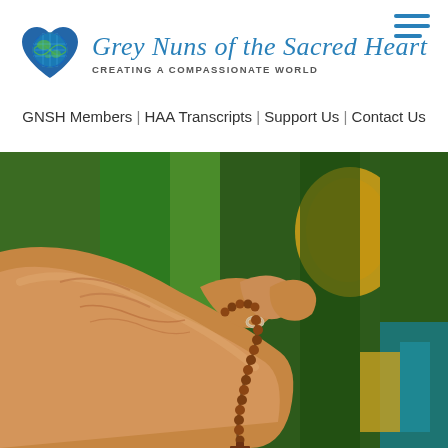[Figure (logo): Grey Nuns of the Sacred Heart logo: blue heart with globe, script text 'Grey Nuns of the Sacred Heart', tagline 'CREATING A COMPASSIONATE WORLD']
[Figure (illustration): Three horizontal blue lines forming a hamburger menu icon in the top right corner]
GNSH Members | HAA Transcripts | Support Us | Contact Us
[Figure (photo): Close-up photo of hands holding a wooden rosary/prayer beads with a crucifix, colorful blurred background with green and yellow tones suggesting stained glass or church interior]